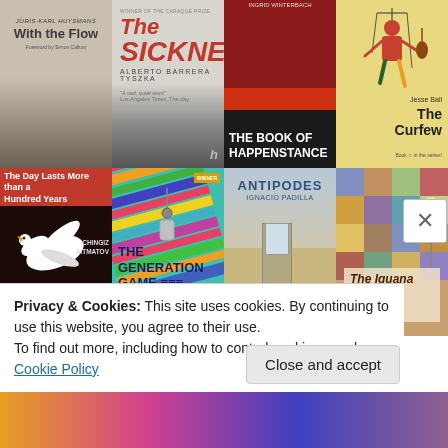[Figure (illustration): Grid of 8 book covers in two rows. Row 1: 'With the Flow' by Joris-Karl Huysmans (foggy cover), 'The Sickness' by Alberto Barrera Tyszka (two figures on a ship), 'The Book of Happenstance' by Ingrid Winterbach (dark red/black cover), 'The Curfew' by Jesse Ball (illustrated yellow cover with puppet figure). Row 2: 'The Day Lasts More than a Hundred Years' by Chingiz Aitmatov (red cover with white bird), 'The Generation Game' (colorful striped cover), 'Antipodes' by Ignacio Padilla (desert scene), 'The Iguana' A Novel by Anna Maria Ortese (colorful illustrated cover).]
Privacy & Cookies: This site uses cookies. By continuing to use this website, you agree to their use.
To find out more, including how to control cookies, see here: Cookie Policy
Close and accept